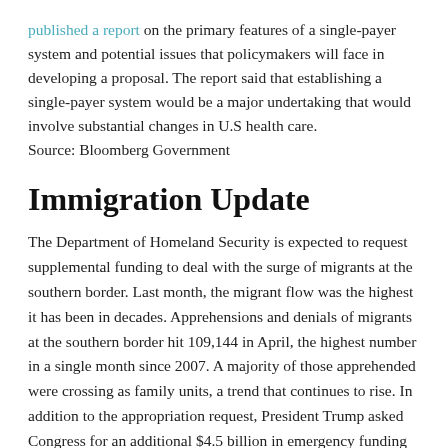published a report on the primary features of a single-payer system and potential issues that policymakers will face in developing a proposal. The report said that establishing a single-payer system would be a major undertaking that would involve substantial changes in U.S health care.
Source: Bloomberg Government
Immigration Update
The Department of Homeland Security is expected to request supplemental funding to deal with the surge of migrants at the southern border. Last month, the migrant flow was the highest it has been in decades. Apprehensions and denials of migrants at the southern border hit 109,144 in April, the highest number in a single month since 2007. A majority of those apprehended were crossing as family units, a trend that continues to rise. In addition to the appropriation request, President Trump asked Congress for an additional $4.5 billion in emergency funding for the southern border. The funds being requested would be used to deal with the immediate humanitarian crisis, not a border wall. President Trump